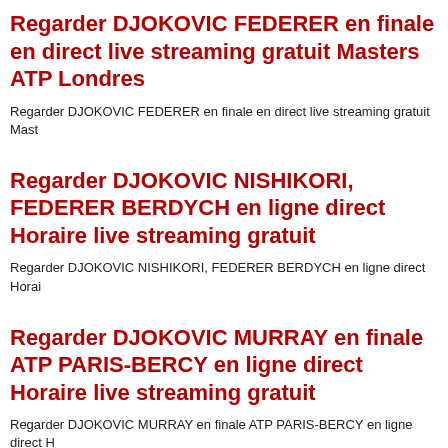Regarder DJOKOVIC FEDERER en finale en direct live streaming gratuit Masters ATP Londres
Regarder DJOKOVIC FEDERER en finale en direct live streaming gratuit Mast
Regarder DJOKOVIC NISHIKORI, FEDERER BERDYCH en ligne direct Horaire live streaming gratuit
Regarder DJOKOVIC NISHIKORI, FEDERER BERDYCH en ligne direct Horai
Regarder DJOKOVIC MURRAY en finale ATP PARIS-BERCY en ligne direct Horaire live streaming gratuit
Regarder DJOKOVIC MURRAY en finale ATP PARIS-BERCY en ligne direct H
Regarder TSONGA DJOKOVIC en finale ATP PARIS-BERCY en ligne direct Horaire live streaming gratuit